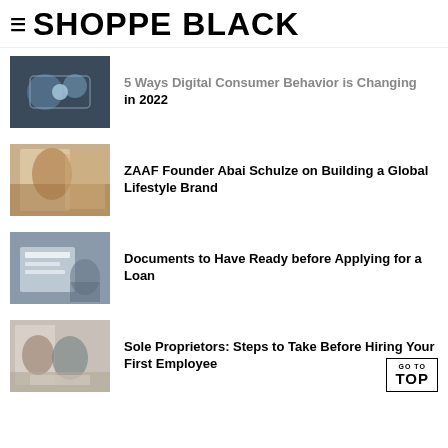SHOPPE BLACK
5 Ways Digital Consumer Behavior is Changing in 2022
ZAAF Founder Abai Schulze on Building a Global Lifestyle Brand
Documents to Have Ready before Applying for a Loan
Sole Proprietors: Steps to Take Before Hiring Your First Employee